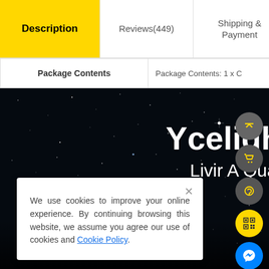Description | Reviews(449) | Shipping & Payment | Wholesale Inquiry
| Package Contents | Package Contents: 1 x C |
| --- | --- |
[Figure (photo): Dark starfield/night sky background with Yeelight brand text overlay and sub-text 'Living A Qual...' with floating action buttons (scroll-up, cart, support, QR code, Messenger) on the right side]
We use cookies to improve your online experience. By continuing browsing this website, we assume you agree our use of cookies and Cookie Policy.